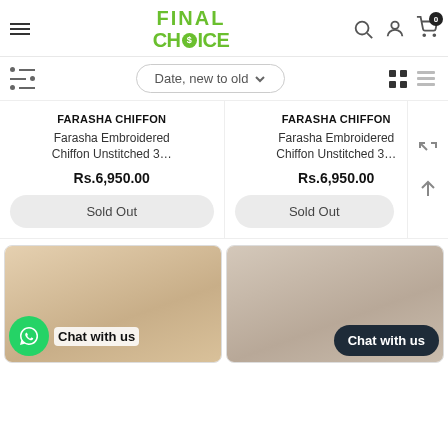FINAL CHOICE — navigation header with logo, search, user, cart icons
Date, new to old — sort and filter toolbar
FARASHA CHIFFON
Farasha Embroidered Chiffon Unstitched 3…
Rs.6,950.00
Sold Out
FARASHA CHIFFON
Farasha Embroidered Chiffon Unstitched 3…
Rs.6,950.00
Sold Out
[Figure (screenshot): Bottom product cards showing clothing items with 'Chat with us' overlays]
Chat with us
Chat with us